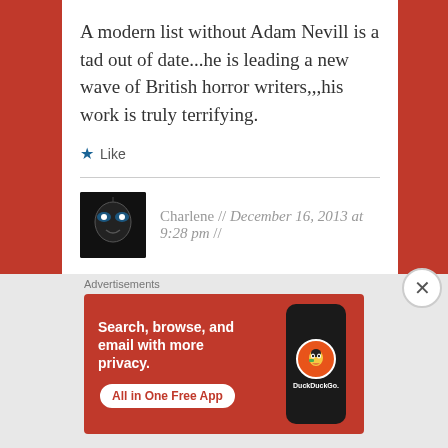A modern list without Adam Nevill is a tad out of date...he is leading a new wave of British horror writers,,,his work is truly terrifying.
★ Like
Charlene // December 16, 2013 at 9:28 pm //
Reply
Advertisements
[Figure (other): DuckDuckGo advertisement banner: orange/red background with text 'Search, browse, and email with more privacy. All in One Free App' and image of a phone with DuckDuckGo logo]